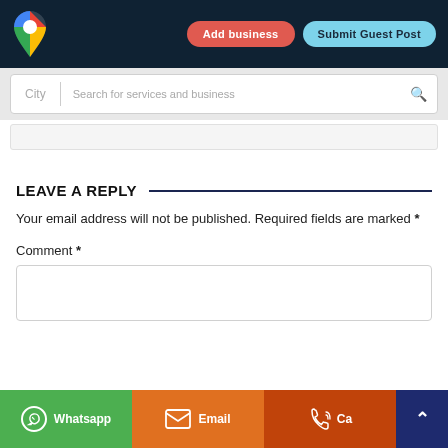[Figure (logo): Google Maps-style location pin logo with multicolor segments]
Add business
Submit Guest Post
City
Search for services and business
LEAVE A REPLY
Your email address will not be published. Required fields are marked *
Comment *
Whatsapp
Email
Ca